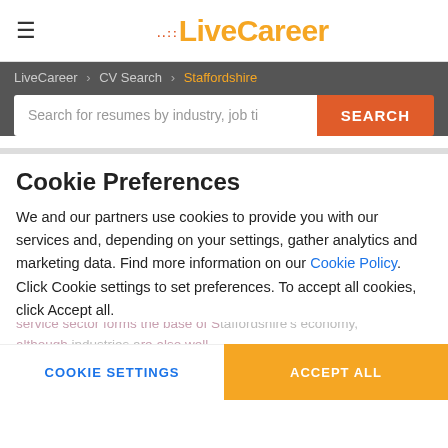LiveCareer
LiveCareer > CV Search > Staffordshire
Search for resumes by industry, job ti
Staffordshire CV Samples
Job Landscape In Staffordshire
Staffordshire has a dynamic economy han...
Cookie Preferences
We and our partners use cookies to provide you with our services and, depending on your settings, gather analytics and marketing data. Find more information on our Cookie Policy. Click Cookie settings to set preferences. To accept all cookies, click Accept all.
COOKIE SETTINGS
ACCEPT ALL